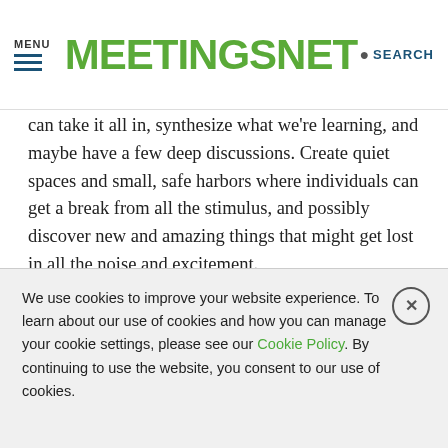MENU | MEETINGSNET | SEARCH
can take it all in, synthesize what we're learning, and maybe have a few deep discussions. Create quiet spaces and small, safe harbors where individuals can get a break from all the stimulus, and possibly discover new and amazing things that might get lost in all the noise and excitement.
7. Never underestimate the beauty of having backup support you can count on. Our second day out, the transmission on the diesel engine started doing some funky
We use cookies to improve your website experience. To learn about our use of cookies and how you can manage your cookie settings, please see our Cookie Policy. By continuing to use the website, you consent to our use of cookies.